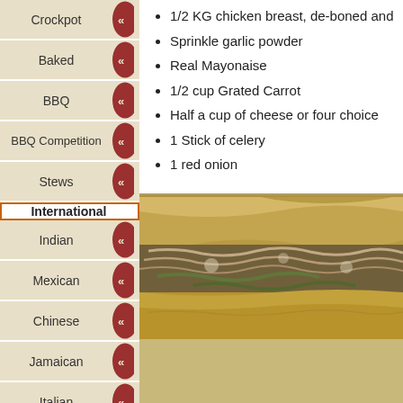Crockpot
Baked
BBQ
BBQ Competition
Stews
International (active)
Indian
Mexican
Chinese
Jamaican
Italian
Info (active)
Your Recipes
Your Questions
1/2 KG chicken breast, de-boned and
Sprinkle garlic powder
Real Mayonaise
1/2 cup Grated Carrot
Half a cup of cheese or four choice
1 Stick of celery
1 red onion
[Figure (photo): Close-up photo of a chicken sandwich with shredded chicken, vegetables, and sauce on toasted bread]